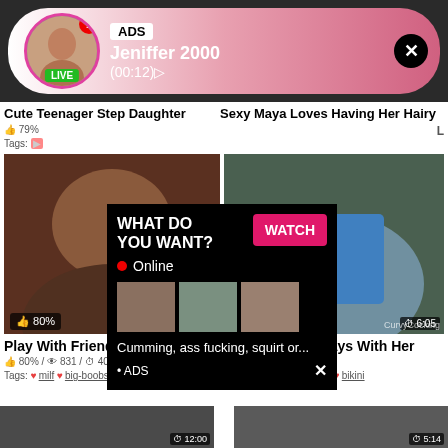[Figure (screenshot): Adult video website screenshot with ad banner, video thumbnails, and popup overlay]
ADS Jeniffer 2000 (00:12)
Cute Teenager Step Daughter
79%
Tags:
Sexy Maya Loves Having Her Hairy
WHAT DO YOU WANT?
WATCH
Online
Cumming, ass fucking, squirt or...
• ADS
Play With Friend Juicy Boobs
80% / 831 / 40:33
Tags: milf big-boobs
Randy Moore Plays With Her
90% / 522 / 6:05
Tags: hardcore babe bikini